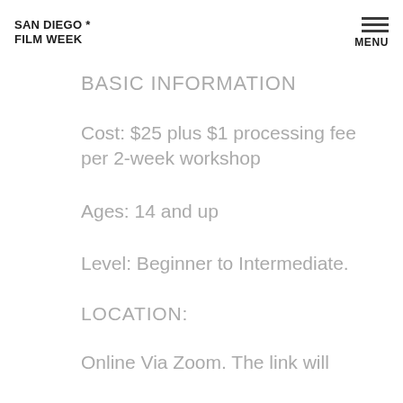SAN DIEGO * FILM WEEK | MENU
BASIC INFORMATION
Cost: $25 plus $1 processing fee per 2-week workshop
Ages: 14 and up
Level: Beginner to Intermediate.
LOCATION:
Online Via Zoom. The link will